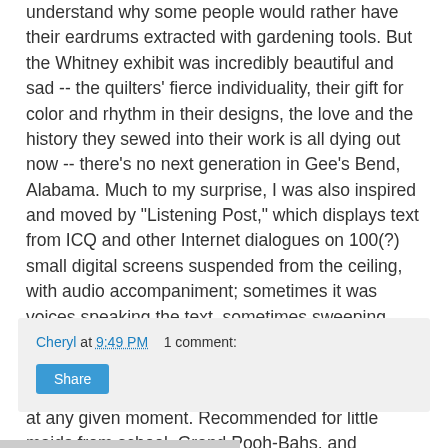understand why some people would rather have their eardrums extracted with gardening tools. But the Whitney exhibit was incredibly beautiful and sad -- the quilters' fierce individuality, their gift for color and rhythm in their designs, the love and the history they sewed into their work is all dying out now -- there's no next generation in Gee's Bend, Alabama. Much to my surprise, I was also inspired and moved by "Listening Post," which displays text from ICQ and other Internet dialogues on 100(?) small digital screens suspended from the ceiling, with audio accompaniment; sometimes it was voices speaking the text, sometimes sweeping, crashing music, all forming a fascinating mosaic of life on the Internet (meaning humanity -- at least the North American educated-with-computers set) at any given moment. Recommended for little maids from school, Grand Pooh-Bahs, and wandering minstrels alike.
Cheryl at 9:49 PM   1 comment:
Share